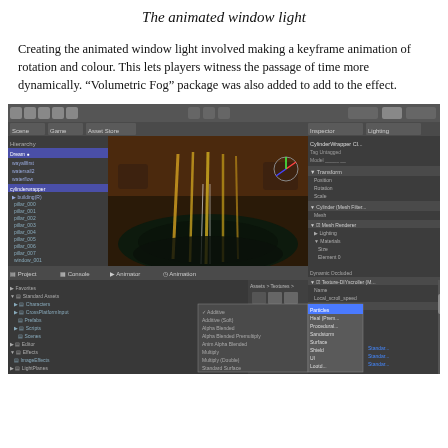The animated window light
Creating the animated window light involved making a keyframe animation of rotation and colour. This lets players witness the passage of time more dynamically. "Volumetric Fog" package was also added to add to the effect.
[Figure (screenshot): Unity Editor screenshot showing a 3D game scene with animated window light effect, hierarchy panel on the left, inspector panel on the right, and asset browser at the bottom with texture assets and shader blend mode dropdown visible.]